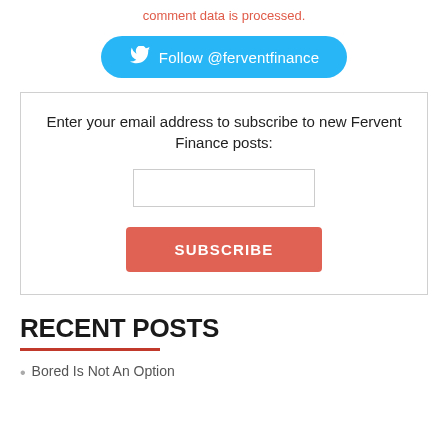comment data is processed.
[Figure (other): Twitter follow button: Follow @ferventfinance]
Enter your email address to subscribe to new Fervent Finance posts:
SUBSCRIBE
RECENT POSTS
Bored Is Not An Option